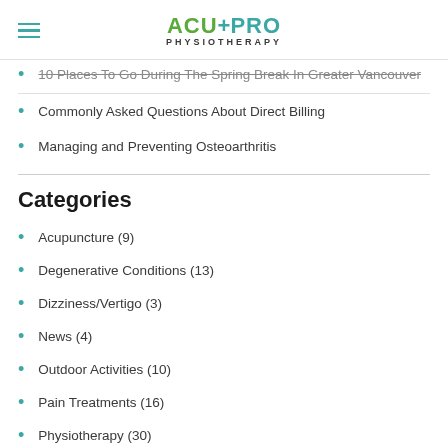ACU+PRO PHYSIOTHERAPY
10 Places To Go During The Spring Break In Greater Vancouver
Commonly Asked Questions About Direct Billing
Managing and Preventing Osteoarthritis
Categories
Acupuncture (9)
Degenerative Conditions (13)
Dizziness/Vertigo (3)
News (4)
Outdoor Activities (10)
Pain Treatments (16)
Physiotherapy (30)